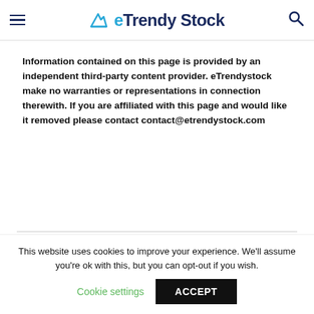eTrendy Stock
Information contained on this page is provided by an independent third-party content provider. eTrendystock make no warranties or representations in connection therewith. If you are affiliated with this page and would like it removed please contact contact@etrendystock.com
[Figure (other): Social sharing buttons row (share, facebook, twitter, pinterest, other)]
This website uses cookies to improve your experience. We'll assume you're ok with this, but you can opt-out if you wish. Cookie settings  ACCEPT